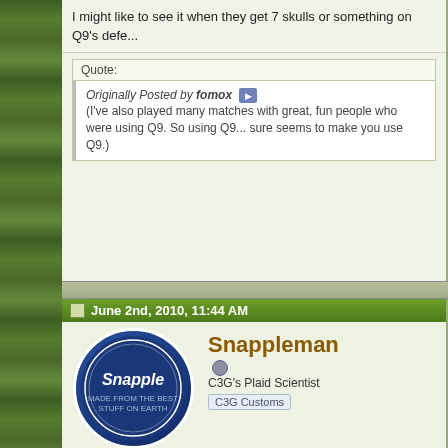I might like to see it when they get 7 skulls or something on Q9's defe...
Quote:
Originally Posted by fomox
(I've also played many matches with great, fun people who were using Q9. So using Q9... sure seems to make you use Q9.)
June 2nd, 2010, 11:44 AM
Snappleman
C3G's Plaid Scientist
C3G Customs
Re: HeroSkype?
Has anyone wrote an app that's basically a simple instant messaging... Seems pretty simple to me. Instead of trying to catch the dice roll on t... enter and the app rolls 5 HS dice and you and one or more connected... would be an attacker and defender section to see who won 🙂 I'll get m...